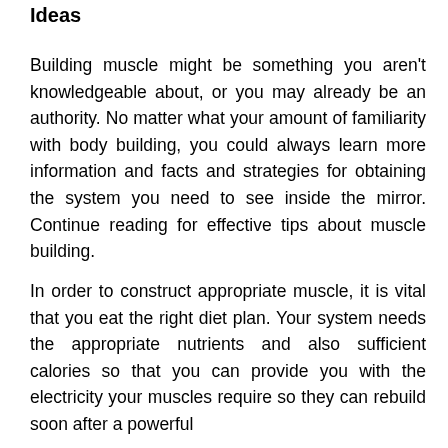Ideas
Building muscle might be something you aren't knowledgeable about, or you may already be an authority. No matter what your amount of familiarity with body building, you could always learn more information and facts and strategies for obtaining the system you need to see inside the mirror. Continue reading for effective tips about muscle building.
In order to construct appropriate muscle, it is vital that you eat the right diet plan. Your system needs the appropriate nutrients and also sufficient calories so that you can provide you with the electricity your muscles require so they can rebuild soon after a powerful workout, and the nutrients for them to grow the